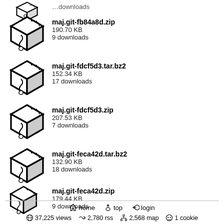maj.git-fb84a8d.zip
190.70 KB
9 downloads
maj.git-fdcf5d3.tar.bz2
152.34 KB
17 downloads
maj.git-fdcf5d3.zip
207.53 KB
7 downloads
maj.git-feca42d.tar.bz2
132.90 KB
18 downloads
maj.git-feca42d.zip
179.44 KB
9 downloads
home  top  login
37,225 views  2,780 rss  2,568 map  1 cookie